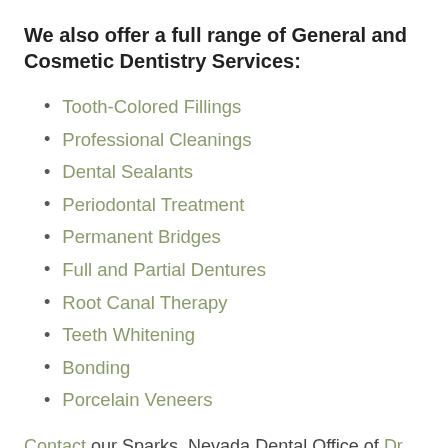We also offer a full range of General and Cosmetic Dentistry Services:
Tooth-Colored Fillings
Professional Cleanings
Dental Sealants
Periodontal Treatment
Permanent Bridges
Full and Partial Dentures
Root Canal Therapy
Teeth Whitening
Bonding
Porcelain Veneers
Contact our Sparks, Nevada Dental Office of Dr. Caffaratti to schedule your consultation with our friendly and knowledgeable team of smile